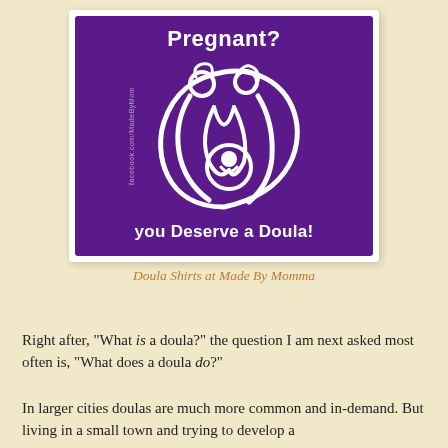[Figure (illustration): Purple square graphic with white illustration of a doula cradling a pregnant woman and baby, with text 'Pregnant? You Deserve a Doula!' and a small watermark 'facebook.com/MadeByMom']
Doula Shirts at Made By Momma
Right after, "What is a doula?" the question I am next asked most often is, "What does a doula do?"
In larger cities doulas are much more common and in-demand. But living in a small town and trying to develop a